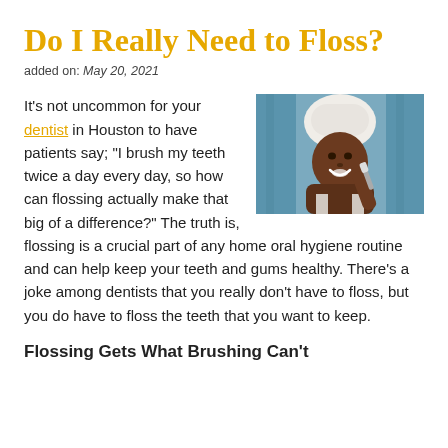Do I Really Need to Floss?
added on: May 20, 2021
[Figure (photo): A smiling woman with a white towel wrapped around her head, applying something to her teeth, with a blue curtain in the background.]
It's not uncommon for your dentist in Houston to have patients say; "I brush my teeth twice a day every day, so how can flossing actually make that big of a difference?" The truth is, flossing is a crucial part of any home oral hygiene routine and can help keep your teeth and gums healthy. There's a joke among dentists that you really don't have to floss, but you do have to floss the teeth that you want to keep.
Flossing Gets What Brushing Can't